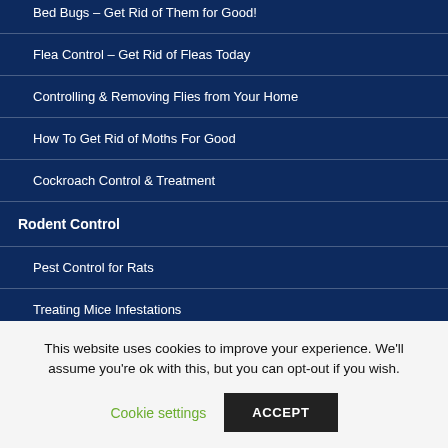Bed Bugs – Get Rid of Them for Good!
Flea Control – Get Rid of Fleas Today
Controlling & Removing Flies from Your Home
How To Get Rid of Moths For Good
Cockroach Control & Treatment
Rodent Control
Pest Control for Rats
Treating Mice Infestations
Squirrel Control & Infestation
Our Blog
This website uses cookies to improve your experience. We'll assume you're ok with this, but you can opt-out if you wish.
Cookie settings  ACCEPT